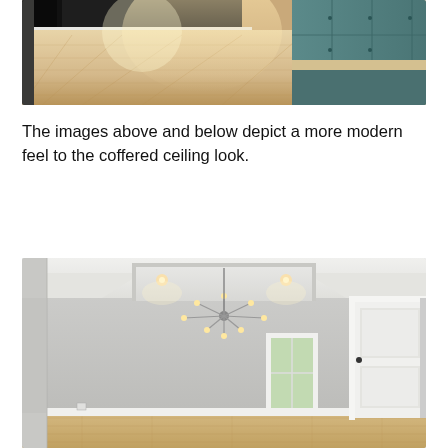[Figure (photo): Interior photo of a modern open-plan room with light hardwood floors, recessed lighting, and teal/blue-green kitchen cabinetry visible on the right side. The room is bright with warm light reflecting off the floor.]
The images above and below depict a more modern feel to the coffered ceiling look.
[Figure (photo): Interior photo of a bedroom or living room with light gray walls, a modern coffered/tray ceiling with recessed lighting and a sputnik-style chandelier, light hardwood floors, a tall narrow window showing green trees outside, and a white paneled door on the right.]